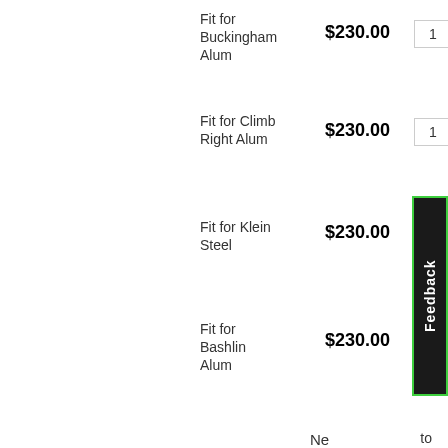Fit for Buckingham Alum
$230.00
1
Fit for Climb Right Alum
$230.00
1
Fit for Klein Steel
$230.00
1
Fit for Bashlin Alum
$230.00
1
Ne cli pa fro if
Feedback
to